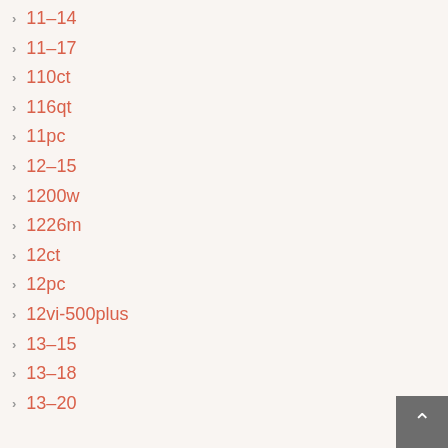11-14
11-17
110ct
116qt
11pc
12-15
1200w
1226m
12ct
12pc
12vi-500plus
13-15
13-18
13-20